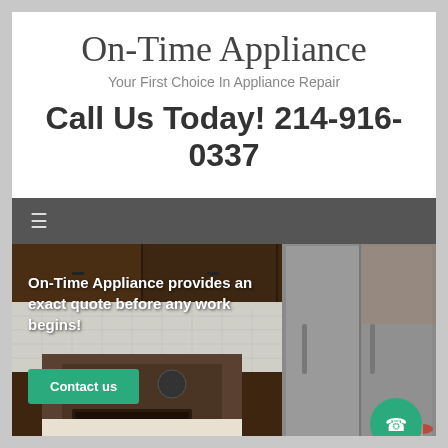On-Time Appliance
Your First Choice In Appliance Repair
Call Us Today! 214-916-0337
[Figure (screenshot): Dark navigation bar with hamburger menu icon]
[Figure (photo): Kitchen interior with dark wood cabinets and stainless steel appliances including a large refrigerator]
On-Time Appliance provides an exact quote before any work begins!
Contact us
[Figure (other): Green circular phone call button in bottom right corner]